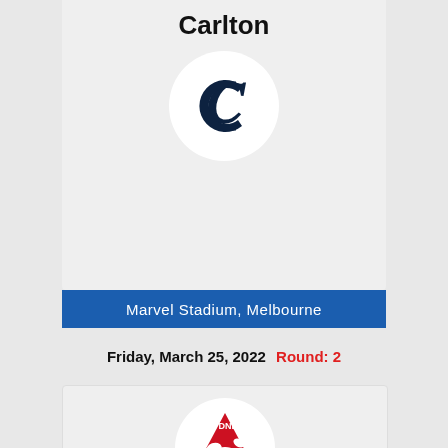Carlton
[Figure (logo): Carlton Football Club logo - stylised C letter in dark navy]
Marvel Stadium, Melbourne
Friday, March 25, 2022  Round: 2
[Figure (logo): Sydney Swans logo - red swan with SYDNEY text in red triangle]
Sydney Swans
107 : 77